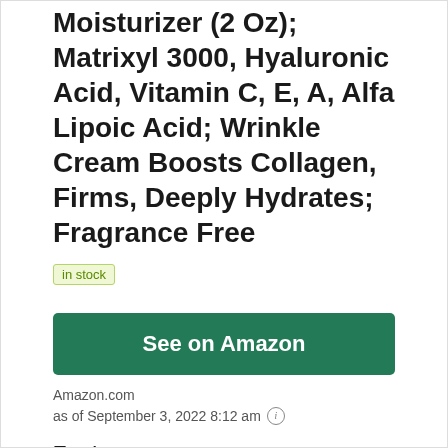Moisturizer (2 Oz); Matrixyl 3000, Hyaluronic Acid, Vitamin C, E, A, Alfa Lipoic Acid; Wrinkle Cream Boosts Collagen, Firms, Deeply Hydrates; Fragrance Free
in stock
See on Amazon
Amazon.com
as of September 3, 2022 8:12 am
Features
PLUMP UP WITH PEPTIDES AND HYALURONIC ACID - Our anti aging moisturizer is made on a very simple formula: boost collagen and hydration to decrease wrinkles and to increase elasticity and firmness. It provides ultimate nourishment, deep long-